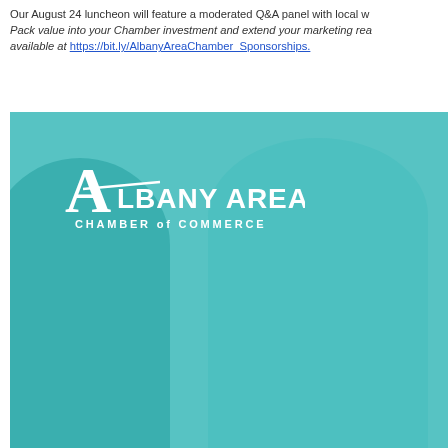Our August 24 luncheon will feature a moderated Q&A panel with local w... Pack value into your Chamber investment and extend your marketing rea... available at https://bit.ly/AlbanyAreaChamber_Sponsorships.
[Figure (photo): Teal-tinted photo of two people at a Chamber of Commerce event, with the Albany Area Chamber of Commerce logo overlaid in white in the upper left area of the image.]